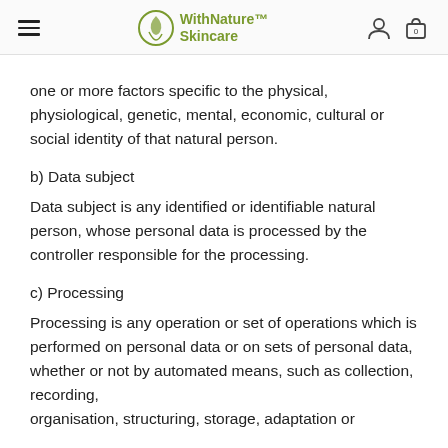WithNature Skincare
one or more factors specific to the physical, physiological, genetic, mental, economic, cultural or social identity of that natural person.
b) Data subject
Data subject is any identified or identifiable natural person, whose personal data is processed by the controller responsible for the processing.
c) Processing
Processing is any operation or set of operations which is performed on personal data or on sets of personal data, whether or not by automated means, such as collection, recording, organisation, structuring, storage, adaptation or